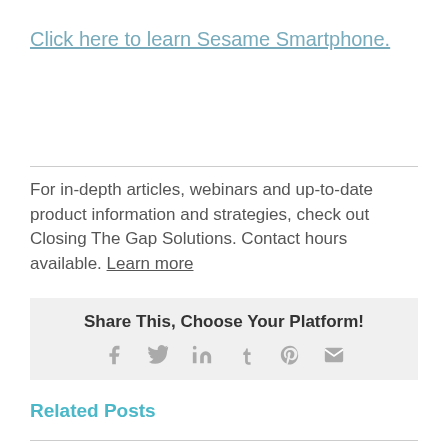Click here to learn Sesame Smartphone.
For in-depth articles, webinars and up-to-date product information and strategies, check out Closing The Gap Solutions. Contact hours available. Learn more
Share This, Choose Your Platform!
Related Posts